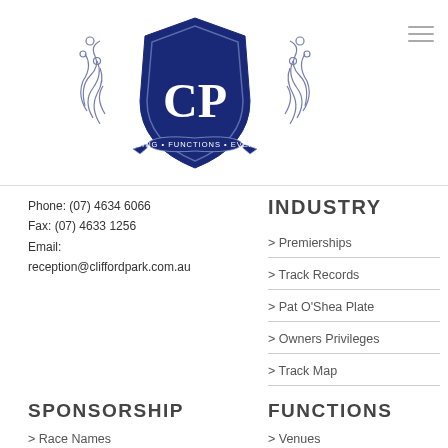[Figure (logo): Clifford Park Racing Functions Events crest logo with ornate scrollwork, dark navy blue shield with CP letters]
Phone: (07) 4634 6066
Fax: (07) 4633 1256
Email:
reception@cliffordpark.com.au
INDUSTRY
> Premierships
> Track Records
> Pat O'Shea Plate
> Owners Privileges
> Track Map
SPONSORSHIP
FUNCTIONS
> Race Names
> Venues